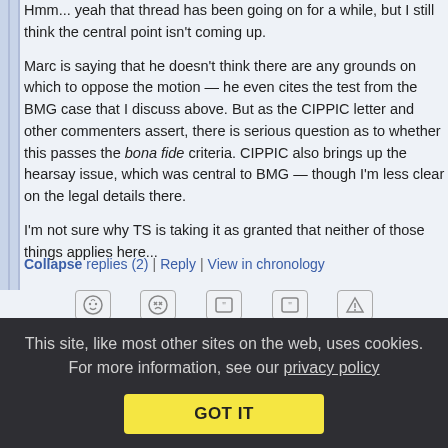Hmm... yeah that thread has been going on for a while, but I still think the central point isn't coming up.
Marc is saying that he doesn't think there are any grounds on which to oppose the motion — he even cites the test from the BMG case that I discuss above. But as the CIPPIC letter and other commenters assert, there is serious question as to whether this passes the bona fide criteria. CIPPIC also brings up the hearsay issue, which was central to BMG — though I'm less clear on the legal details there.
I'm not sure why TS is taking it as granted that neither of those things applies here...
Collapse replies (2) | Reply | View in chronology
This site, like most other sites on the web, uses cookies. For more information, see our privacy policy
GOT IT